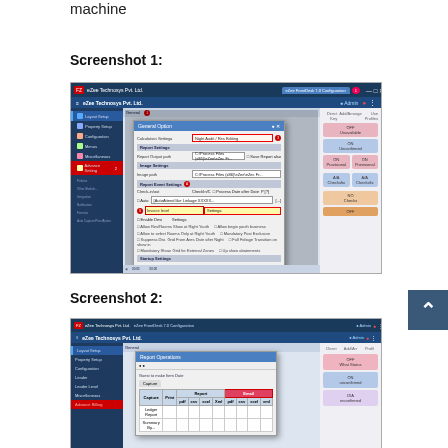machine
Screenshot 1:
[Figure (screenshot): Screenshot 1 of eZee Technosys Pvt. Ltd. application showing General Option dialog with Calculation Settings, Report Settings, Image Settings, Report Event Settings fields. Several fields are highlighted with red circles and red-bordered boxes indicating selected options.]
Screenshot 2:
[Figure (screenshot): Screenshot 2 of eZee Technosys Pvt. Ltd. application showing Report Operations dialog with a table grid, tabs, and column headers. An Email column header is highlighted with a red border.]